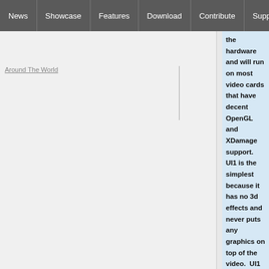News | Showcase | Features | Download | Contribute | Support
Around The World
the hardware and will run on most video cards that have decent OpenGL and XDamage support.  UI1 is the simplest because it has no 3d effects and never puts any graphics on top of the video.  UI1 should run on nearly all Linux-compatible video cards.  See [[Screenshots]] to see the differences